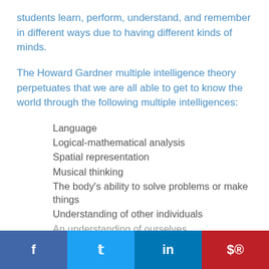students learn, perform, understand, and remember in different ways due to having different kinds of minds.
The Howard Gardner multiple intelligence theory perpetuates that we are all able to get to know the world through the following multiple intelligences:
Language
Logical-mathematical analysis
Spatial representation
Musical thinking
The body's ability to solve problems or make things
Understanding of other individuals
An understanding of ourselves
f  twitter  in  pinterest